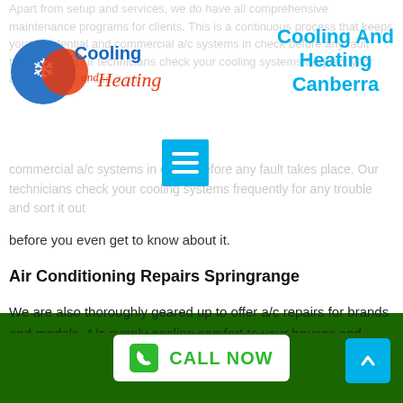[Figure (logo): Cooling and Heating logo with snowflake and sun icon, blue and red text]
Cooling And Heating Canberra
Apart from setup and services, we do have all comprehensive maintenance programs for clients. This is a continuous process that keeps your residential and commercial a/c systems in check before any fault takes place. Our technicians check your cooling systems frequently for any trouble and sort it out before you even get to know about it.
Air Conditioning Repairs Springrange
We are also thoroughly geared up to offer a/c repairs for brands and models. A/c supply cooling comfort to your houses and workplaces. And it ends up being practically excruciating if something fails with them. We intend to assist you in such a scenario and make sure that we are able to repair the problem in best possible time therefore improving your living and
CALL NOW